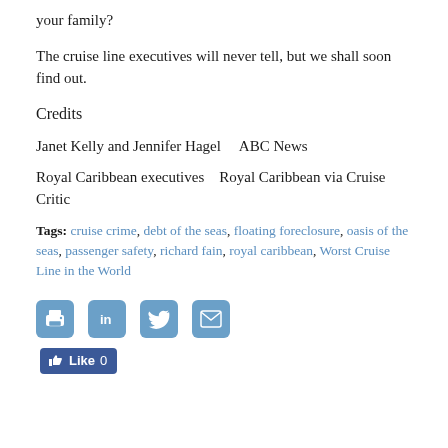your family?
The cruise line executives will never tell, but we shall soon find out.
Credits
Janet Kelly and Jennifer Hagel    ABC News
Royal Caribbean executives    Royal Caribbean via Cruise Critic
Tags: cruise crime, debt of the seas, floating foreclosure, oasis of the seas, passenger safety, richard fain, royal caribbean, Worst Cruise Line in the World
[Figure (infographic): Social sharing icons: print, LinkedIn, Twitter, email buttons, and a Facebook Like button showing 0 likes]